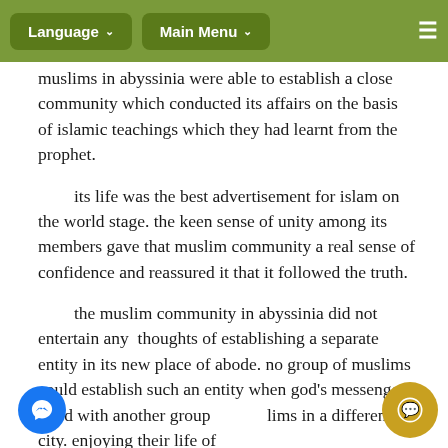Language  Main Menu
muslims in abyssinia were able to establish a close community which conducted its affairs on the basis of islamic teachings which they had learnt from the prophet.
its life was the best advertisement for islam on the world stage. the keen sense of unity among its members gave that muslim community a real sense of confidence and reassured it that it followed the truth.
the muslim community in abyssinia did not entertain any thoughts of establishing a separate entity in its new place of abode. no group of muslims could establish such an entity when god's messenger lived with another group of muslims in a different city. enjoying their life of freedom and ease, the muslims in abyssinia were all the time thinking of their brethren in makkah and of the